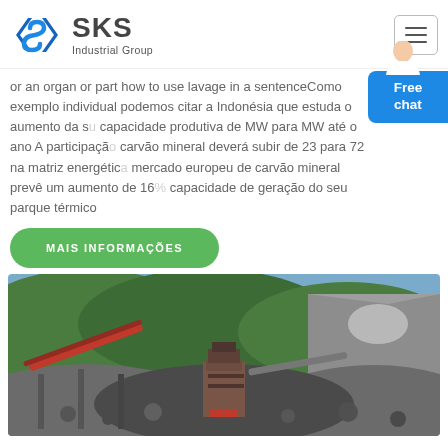SKS Industrial Group
or an organ or part how to use lavage in a sentence Como exemplo individual podemos citar a Indonésia que estuda o aumento da sua capacidade produtiva de MW para MW até o ano A participação do carvão mineral deverá subir de 23 para 72 na matriz energética mercado europeu de carvão mineral prevê um aumento de 16 capacidade de geração do seu parque térmico
MAIS INFORMAÇÕES
[Figure (photo): Open-pit mining operation showing conveyor belts, rock crushing machinery, and a quarry with green hills in the background]